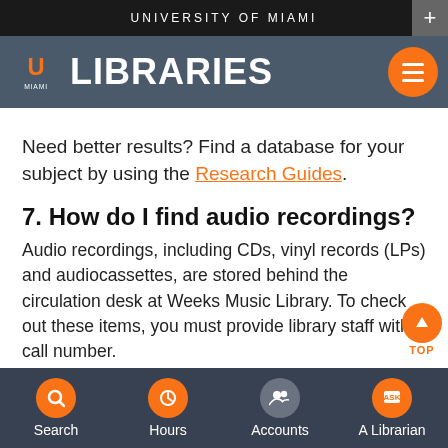UNIVERSITY OF MIAMI
[Figure (logo): University of Miami Libraries logo with U symbol and LIBRARIES text on dark background]
Need better results? Find a database for your subject by using the Research Guides.
7. How do I find audio recordings?
Audio recordings, including CDs, vinyl records (LPs) and audiocassettes, are stored behind the circulation desk at Weeks Music Library. To check out these items, you must provide library staff with a call number.
You can search for recordings by using the “CD/DVD” link at the top of the main Library website. For best results, you can
Search | Hours | Accounts | A Librarian